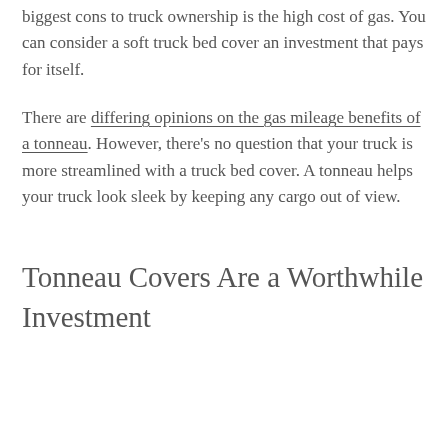biggest cons to truck ownership is the high cost of gas. You can consider a soft truck bed cover an investment that pays for itself.
There are differing opinions on the gas mileage benefits of a tonneau. However, there's no question that your truck is more streamlined with a truck bed cover. A tonneau helps your truck look sleek by keeping any cargo out of view.
Tonneau Covers Are a Worthwhile Investment